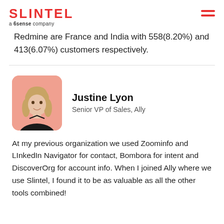SLINTEL a 6sense company
Redmine are France and India with 558(8.20%) and 413(6.07%) customers respectively.
[Figure (photo): Profile photo of Justine Lyon, a woman with blonde hair, against a pink/salmon background.]
Justine Lyon
Senior VP of Sales, Ally
At my previous organization we used Zoominfo and LInkedIn Navigator for contact, Bombora for intent and DiscoverOrg for account info. When I joined Ally where we use Slintel, I found it to be as valuable as all the other tools combined!